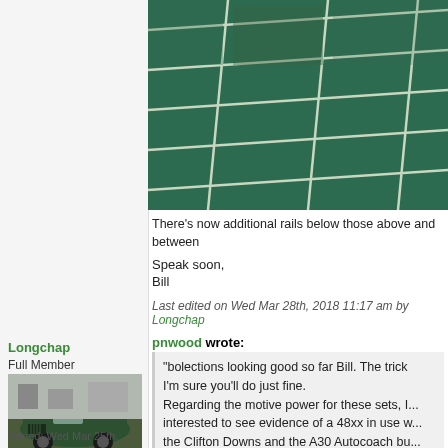[Figure (photo): Close-up photo of green tiles/rails arranged in a grid pattern with light-colored grout lines]
There's now additional rails below those above and between
Speak soon,
Bill
Last edited on Wed Mar 28th, 2018 11:17 am by Longchap
pnwood wrote:
"bolections looking good so far Bill. The trick... I'm sure you'll do just fine. Regarding the motive power for these sets, I... interested to see evidence of a 48xx in use w... the Clifton Downs and the A30 Autocoach bu... "
Longchap
Full Member
[Figure (photo): Photo of a dark green vintage sports car (Morgan-style) parked outside a building]
Joined: Wed Mar 25th,